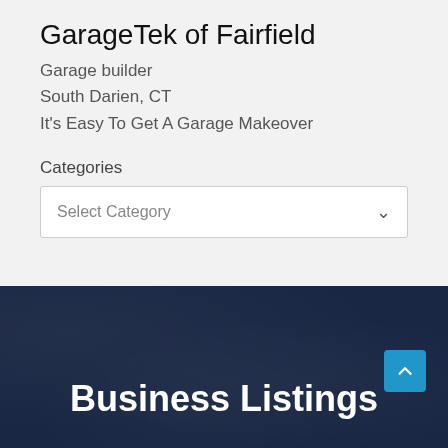GarageTek of Fairfield
Garage builder
South Darien, CT
It's Easy To Get A Garage Makeover
Categories
Select Category
Business Listings